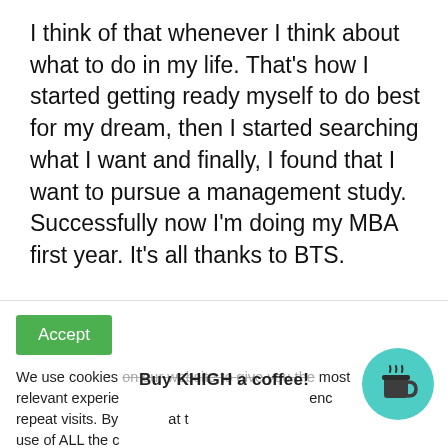I think of that whenever I think about what to do in my life. That's how I started getting ready myself to do best for my dream, then I started searching what I want and finally, I found that I want to pursue a management study. Successfully now I'm doing my MBA first year. It's all thanks to BTS.
Because not only me but every human in this world needs someone when they are sad
Accept
We use cookies on our website to give you the most relevant experie ence repeat visits. By at t use of ALL the c
Buy KHIGH a coffee!